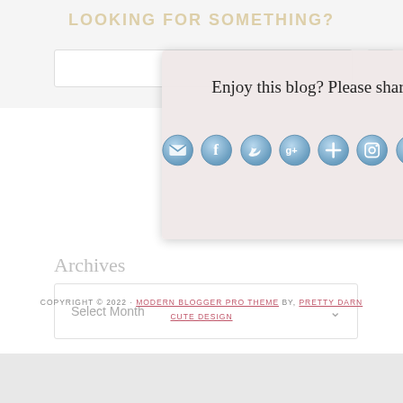[Figure (screenshot): Blog share popup overlay with social media icons (email, Facebook, Twitter, Google+, add, Instagram, LinkedIn, RSS) and close button, over a page showing a search area]
Archives
Select Month
COPYRIGHT © 2022 · MODERN BLOGGER PRO THEME BY, PRETTY DARN CUTE DESIGN